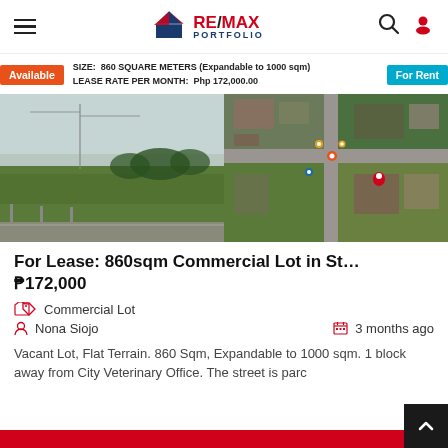RE/MAX PORTFOLIO — navigation header with hamburger menu, search icon, and user icon
Available | SIZE: 860 SQUARE METERS (Expandable to 1000 sqm) LEASE RATE PER MONTH: Php 172,000.00 | For Rent
[Figure (photo): Two-panel property image: left shows a vacant green lot with road and power lines, right shows an aerial/satellite map view of the lot location]
For Lease: 860sqm Commercial Lot in St…
₱172,000
Commercial Lot
Nona Siojo
3 months ago
Vacant Lot, Flat Terrain. 860 Sqm, Expandable to 1000 sqm. 1 block away from City Veterinary Office. The street is parc…